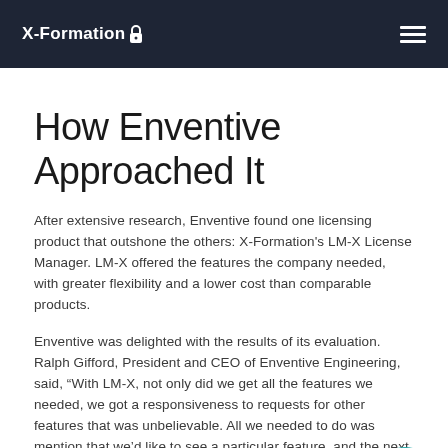X-Formation
How Enventive Approached It
After extensive research, Enventive found one licensing product that outshone the others: X-Formation's LM-X License Manager. LM-X offered the features the company needed, with greater flexibility and a lower cost than comparable products.
Enventive was delighted with the results of its evaluation. Ralph Gifford, President and CEO of Enventive Engineering, said, “With LM-X, not only did we get all the features we needed, we got a responsiveness to requests for other features that was unbelievable. All we needed to do was mention that we’d like to see a particular feature, and the next thing we knew, X-Formation was handing us a new version of LM-X with the very features we’d asked fo…
While LM-X provided customizable renewal dates and a choice of node-locked and floating licenses, Enventive was particularly…